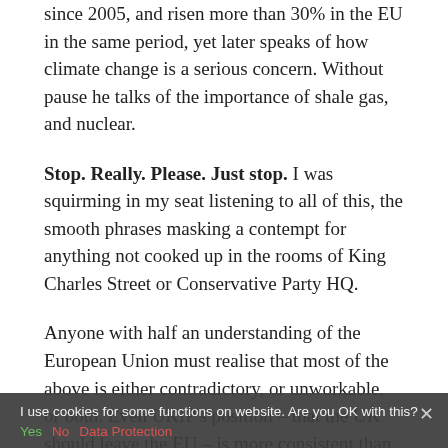since 2005, and risen more than 30% in the EU in the same period, yet later speaks of how climate change is a serious concern. Without pause he talks of the importance of shale gas, and nuclear.
Stop. Really. Please. Just stop. I was squirming in my seat listening to all of this, the smooth phrases masking a contempt for anything not cooked up in the rooms of King Charles Street or Conservative Party HQ.
Anyone with half an understanding of the European Union must realise that most of the above is either contradictory, or unworkable, or both. Even UKIP's position – that the UK should leave the EU – is more consistent than this.
The gentleman's position essentially starts from where the European Union is now, where UK politics (and especially